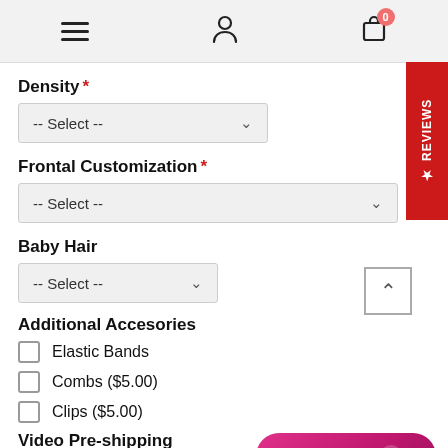Navigation header with hamburger menu, user icon, and cart (0 items)
Density *
-- Select --
Frontal Customization *
-- Select --
Baby Hair
-- Select --
Additional Accesories
Elastic Bands
Combs ($5.00)
Clips ($5.00)
Video Pre-shipping
Video of your unit pre-shipping ($10.00)